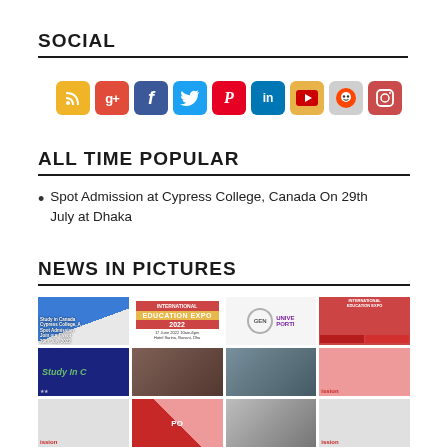SOCIAL
[Figure (infographic): Row of 9 social media icon buttons: RSS (yellow), Google+ (red), Facebook (blue), Twitter (light blue), Pinterest (red), LinkedIn (blue), YouTube (yellow/orange), Reddit (gray), Instagram (red/brown)]
ALL TIME POPULAR
Spot Admission at Cypress College, Canada On 29th July at Dhaka
NEWS IN PICTURES
[Figure (photo): Grid of 12 thumbnail images related to education news in pictures, showing study abroad promotions, education expo events, university portals, student groups, and admission-related imagery.]